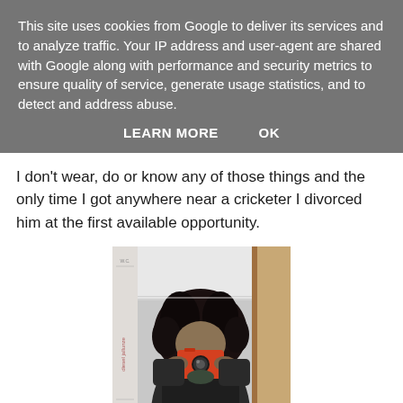This site uses cookies from Google to deliver its services and to analyze traffic. Your IP address and user-agent are shared with Google along with performance and security metrics to ensure quality of service, generate usage statistics, and to detect and address abuse.
LEARN MORE    OK
I don't wear, do or know any of those things and the only time I got anywhere near a cricketer I divorced him at the first available opportunity.
[Figure (photo): A person with long dark curly hair taking a mirror selfie with a red/orange camera, wearing dark clothing, in a bathroom setting.]